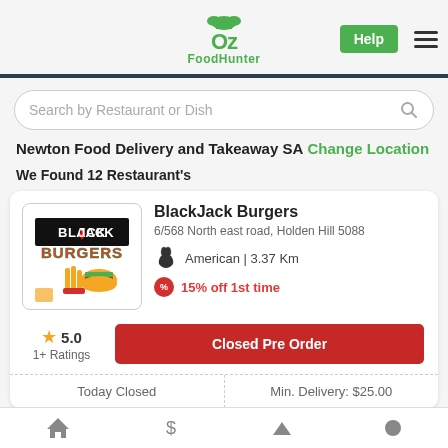[Figure (logo): OzFoodHunter logo in green with chef hat icon above, Help button and hamburger menu on right]
Search by Restaurant or Dish
Newton Food Delivery and Takeaway SA Change Location
We Found 12 Restaurant's
[Figure (logo): BlackJack Burgers restaurant logo - black and white text with red BURGERS text and burger/fries illustration]
BlackJack Burgers
6/568 North east road, Holden Hill 5088
American | 3.37 Km
15% off 1st time
★ 5.0
1+ Ratings
Closed Pre Order
| Today Closed | Min. Delivery: $25.00 |
| --- | --- |